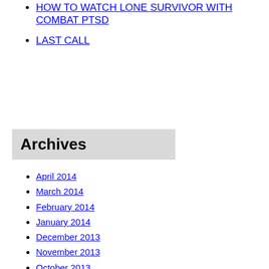HOW TO WATCH LONE SURVIVOR WITH COMBAT PTSD
LAST CALL
Archives
April 2014
March 2014
February 2014
January 2014
December 2013
November 2013
October 2013
September 2013
August 2013
July 2013
June 2013
May 2013
April 2013
March 2013
February 2013
January 2013